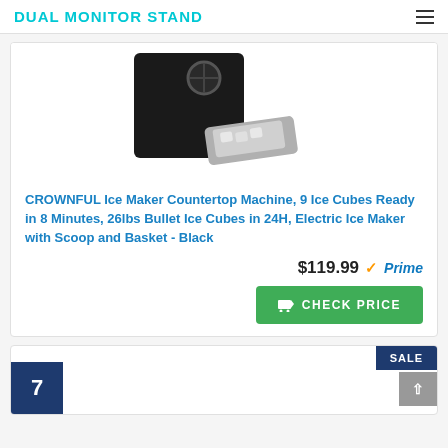DUAL MONITOR STAND
[Figure (photo): Product photo of a black CROWNFUL ice maker countertop machine with ice cubes visible in a tray]
CROWNFUL Ice Maker Countertop Machine, 9 Ice Cubes Ready in 8 Minutes, 26lbs Bullet Ice Cubes in 24H, Electric Ice Maker with Scoop and Basket - Black
$119.99 ✓Prime
CHECK PRICE
7 SALE